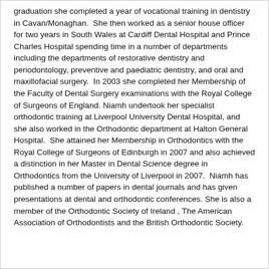graduation she completed a year of vocational training in dentistry in Cavan/Monaghan.  She then worked as a senior house officer for two years in South Wales at Cardiff Dental Hospital and Prince Charles Hospital spending time in a number of departments including the departments of restorative dentistry and periodontology, preventive and paediatric dentistry, and oral and maxillofacial surgery.  In 2003 she completed her Membership of the Faculty of Dental Surgery examinations with the Royal College of Surgeons of England. Niamh undertook her specialist orthodontic training at Liverpool University Dental Hospital, and she also worked in the Orthodontic department at Halton General Hospital.  She attained her Membership in Orthodontics with the Royal College of Surgeons of Edinburgh in 2007 and also achieved a distinction in her Master in Dental Science degree in Orthodontics from the University of Liverpool in 2007.  Niamh has published a number of papers in dental journals and has given presentations at dental and orthodontic conferences. She is also a member of the Orthodontic Society of Ireland , The American Association of Orthodontists and the British Orthodontic Society.